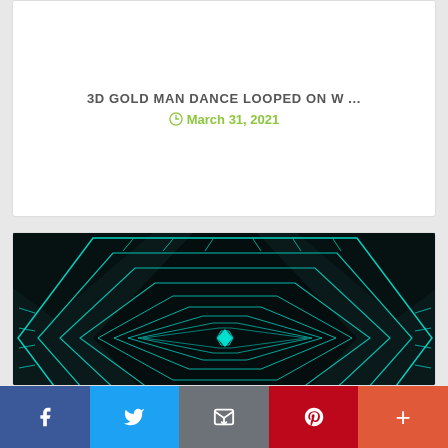3D GOLD MAN DANCE LOOPED ON W ...
March 31, 2021
[Figure (photo): Abstract 3D diamond tunnel with concentric diamond shapes and glowing cyan/teal neon lines on dark background, perspective view toward a bright center point]
ABSTRACT DIAMOND TUNNEL ...
March 31, 2021
f  Twitter  Email  Pinterest  +